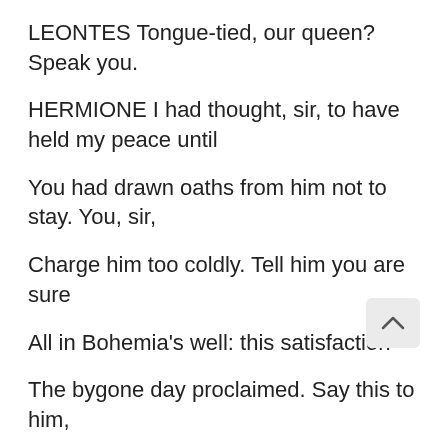LEONTES Tongue-tied, our queen? Speak you.
HERMIONE I had thought, sir, to have held my peace until
You had drawn oaths from him not to stay. You, sir,
Charge him too coldly. Tell him you are sure
All in Bohemia's well: this satisfaction
The bygone day proclaimed. Say this to him,
He's beat from his best ward.
LEONTES Well said, Hermione.